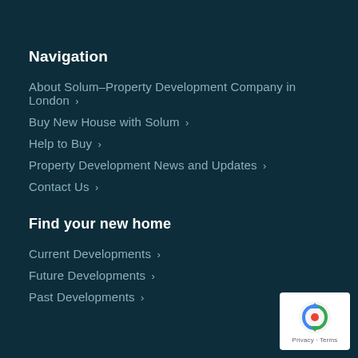Navigation
About Solum–Property Development Company in London >
Buy New House with Solum >
Help to Buy >
Property Development News and Updates >
Contact Us >
Find your new home
Current Developments >
Future Developments >
Past Developments >
[Figure (logo): Google reCAPTCHA badge with Privacy and Terms text]